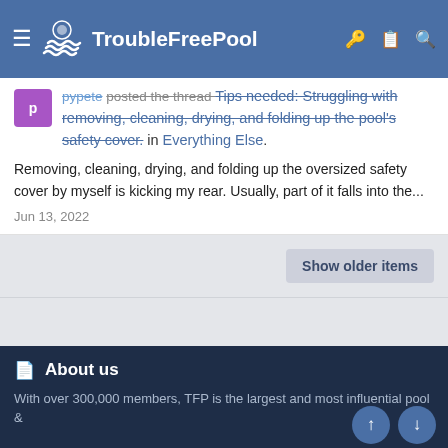TroubleFreePool
pypete posted the thread Tips needed: Struggling with removing, cleaning, drying, and folding up the pool's safety cover. in Everything Else.
Removing, cleaning, drying, and folding up the oversized safety cover by myself is kicking my rear. Usually, part of it falls into the...
Jun 13, 2022
Show older items
About us
With over 300,000 members, TFP is the largest and most influential pool &